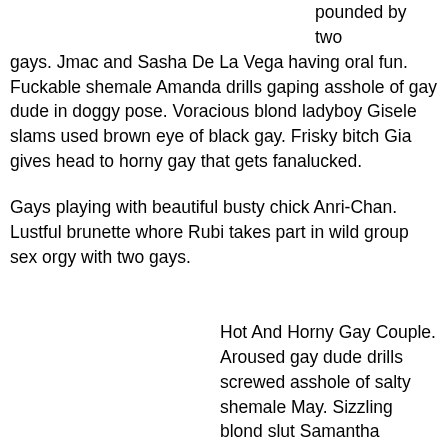pounded by two gays. Jmac and Sasha De La Vega having oral fun. Fuckable shemale Amanda drills gaping asshole of gay dude in doggy pose. Voracious blond ladyboy Gisele slams used brown eye of black gay. Frisky bitch Gia gives head to horny gay that gets fanalucked.
Gays playing with beautiful busty chick Anri-Chan. Lustful brunette whore Rubi takes part in wild group sex orgy with two gays.
Hot And Horny Gay Couple. Aroused gay dude drills screwed asshole of salty shemale May. Sizzling blond slut Samantha